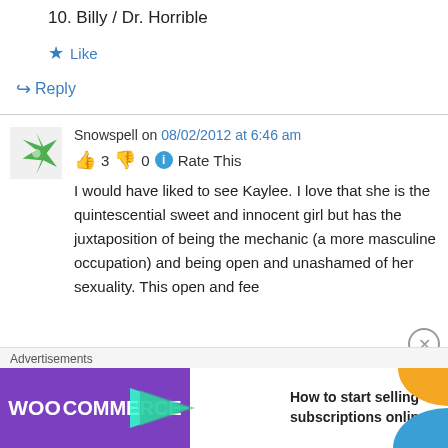10. Billy / Dr. Horrible
★ Like
↪ Reply
Snowspell on 08/02/2012 at 6:46 am
👍 3 👎 0 ℹ Rate This
I would have liked to see Kaylee. I love that she is the quintescential sweet and innocent girl but has the juxtaposition of being the mechanic (a more masculine occupation) and being open and unashamed of her sexuality. This open and fee
[Figure (screenshot): WooCommerce advertisement banner: purple background with WooCommerce logo and green arrow, text reading 'How to start selling subscriptions online', orange and blue decorative shapes]